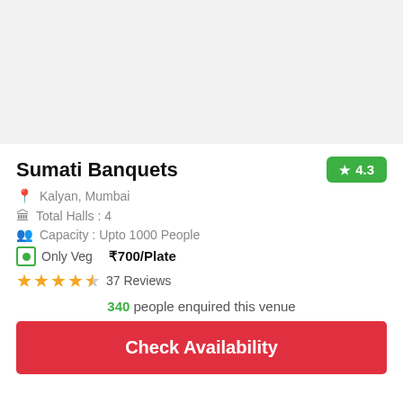[Figure (photo): Venue/banquet hall image placeholder (light gray background)]
Sumati Banquets
★ 4.3
📍 Kalyan, Mumbai
🏛 Total Halls : 4
👥 Capacity : Upto 1000 People
Only Veg   ₹700/Plate
★★★★☆ 37 Reviews
340 people enquired this venue
Check Availability